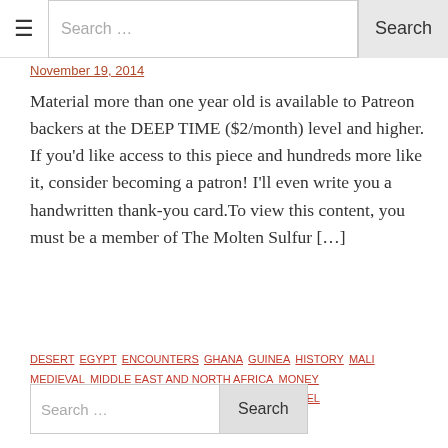☰  Search …  Search
November 19, 2014
Material more than one year old is available to Patreon backers at the DEEP TIME ($2/month) level and higher. If you'd like access to this piece and hundreds more like it, consider becoming a patron! I'll even write you a handwritten thank-you card.To view this content, you must be a member of The Molten Sulfur […]
DESERT EGYPT ENCOUNTERS GHANA GUINEA HISTORY MALI MEDIEVAL MIDDLE EAST AND NORTH AFRICA MONEY MOROCCO SENEGAL SUB-SAHARAN AFRICA TRAVEL
1 2 Next
Search …  Search